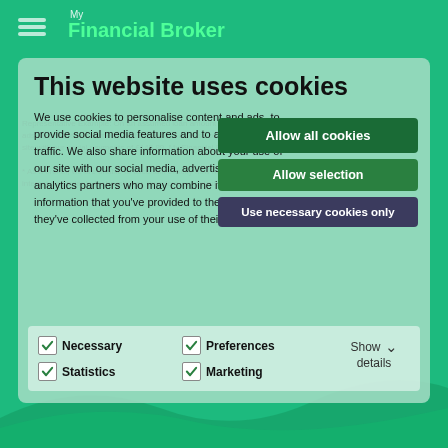My Financial Broker
This website uses cookies
Representative Example: On an assumed loan amount of £750 o... payments of £145.89. My Financial Broker is a broker, not a lender.*
We use cookies to personalise content and ads, to provide social media features and to analyse our traffic. We also share information about your use of our site with our social media, advertising and analytics partners who may combine it with other information that you've provided to them or that they've collected from your use of their services.
* As a broker, we are unable to ascertain exactly how many customers take out a loan or the lender's rate of interest particular to that customer, therefore our calculation is based on the mean APR of our panel of lenders.
Allow all cookies
Allow selection
Use necessary cookies only
Necessary  Preferences  Statistics  Marketing  Show details